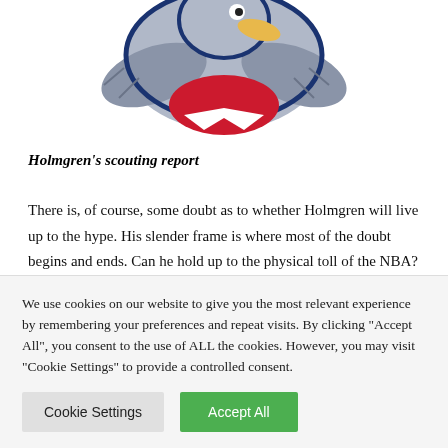[Figure (illustration): Sports mascot illustration — a pelican or similar bird in gray, blue, and red colors, shown partially cropped at the top of the page]
Holmgren's scouting report
There is, of course, some doubt as to whether Holmgren will live up to the hype. His slender frame is where most of the doubt begins and ends. Can he hold up to the physical toll of the NBA? Everyone will cite the fact that scouts voiced similar concerns about Kevin Durant when he was coming out of
We use cookies on our website to give you the most relevant experience by remembering your preferences and repeat visits. By clicking "Accept All", you consent to the use of ALL the cookies. However, you may visit "Cookie Settings" to provide a controlled consent.